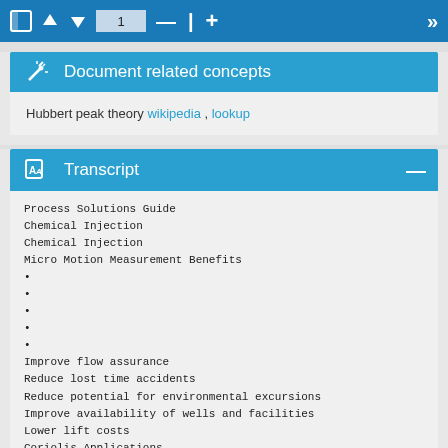1
Document related concepts
Hubbert peak theory wikipedia , lookup
Transcript
Process Solutions Guide
Chemical Injection
Chemical Injection
Micro Motion Measurement Benefits
•
•
•
•
•
Improve flow assurance
Reduce lost time accidents
Reduce potential for environmental excursions
Improve availability of wells and facilities
Lower lift costs
Coriolis Applications
• Inhibiting scale and corrosion
• Hydrate control